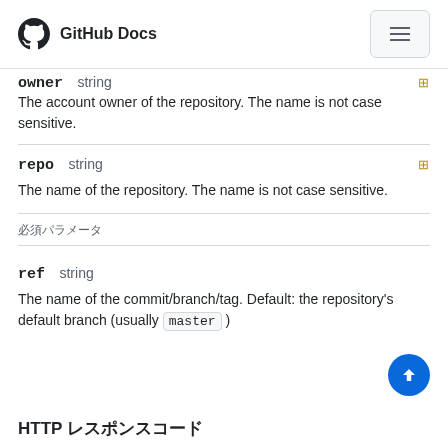GitHub Docs
owner   string
The account owner of the repository. The name is not case sensitive.
repo   string
The name of the repository. The name is not case sensitive.
必須パラメータ
ref   string
The name of the commit/branch/tag. Default: the repository's default branch (usually master )
HTTP レスポンスコード